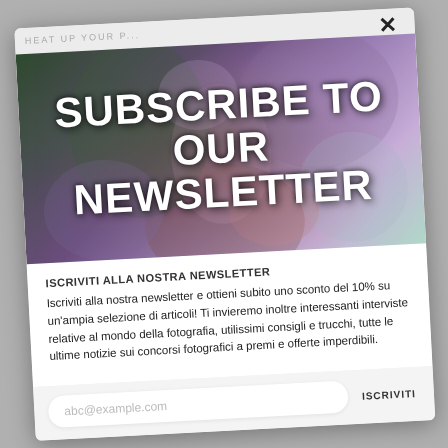[Figure (screenshot): Newsletter subscription modal popup showing a woman's face surrounded by purple/lilac flowers with overlaid white bold text 'SUBSCRIBE TO OUR NEWSLETTER']
ISCRIVITI ALLA NOSTRA NEWSLETTER
Iscriviti alla nostra newsletter e ottieni subito uno sconto del 10% su un'ampia selezione di articoli! Ti invieremo inoltre interessanti interviste relative al mondo della fotografia, utilissimi consigli e trucchi, tutte le ultime notizie sui concorsi fotografici a premi e offerte imperdibili.
abc@example.com
ISCRIVITI